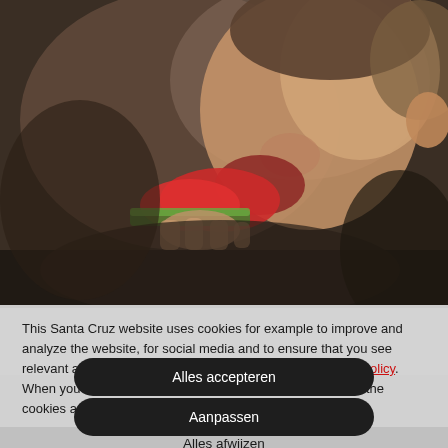[Figure (photo): Close-up of a man eating a slice of watermelon, holding it up to his mouth with both hands. The background is blurred dark tones.]
This Santa Cruz website uses cookies for example to improve and analyze the website, for social media and to ensure that you see relevant ads. To learn more about cookies, click on Cookie Policy. When you click on accept, you authorize Santa Cruz to use the cookies as set for our website.
Alles accepteren
Aanpassen
Alles afwijzen